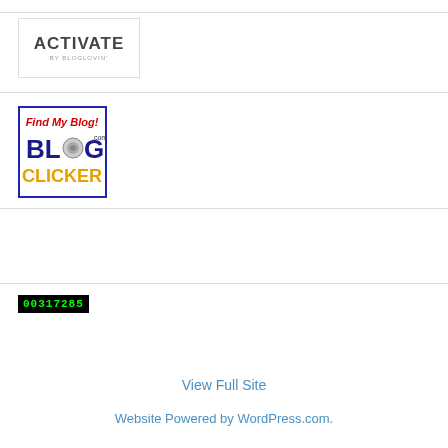[Figure (logo): ACTIVATE BY BLOGLOVIN' badge with white background and gray border]
[Figure (logo): Find My Blog! BlogClicker.com badge with blue border, red and blue text]
[Figure (other): Visit counter displaying 00317285 in green digits on black background]
View Full Site
Website Powered by WordPress.com.